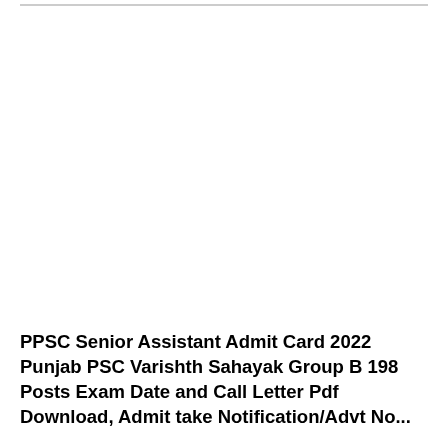PPSC Senior Assistant Admit Card 2022 Punjab PSC Varishth Sahayak Group B 198 Posts Exam Date and Call Letter Pdf Download, Admit take Notification/Advt No...